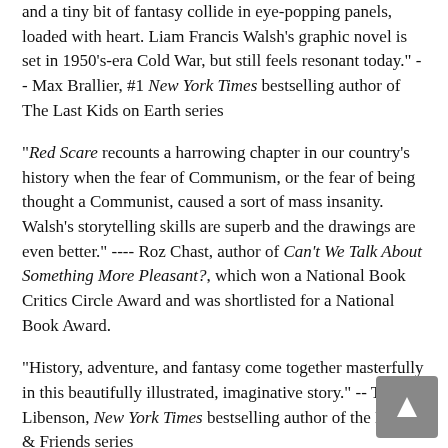and a tiny bit of fantasy collide in eye-popping panels, loaded with heart. Liam Francis Walsh's graphic novel is set in 1950's-era Cold War, but still feels resonant today." -- Max Brallier, #1 New York Times bestselling author of The Last Kids on Earth series
"Red Scare recounts a harrowing chapter in our country's history when the fear of Communism, or the fear of being thought a Communist, caused a sort of mass insanity. Walsh's storytelling skills are superb and the drawings are even better." ---- Roz Chast, author of Can't We Talk About Something More Pleasant?, which won a National Book Critics Circle Award and was shortlisted for a National Book Award.
"History, adventure, and fantasy come together masterfully in this beautifully illustrated, imaginative story." -- Terri Libenson, New York Times bestselling author of the Emmie & Friends series
"I love the drawings: Sometimes you turn the page and yo... The artwork builds this page-turner perfectly!" -- Jeff...